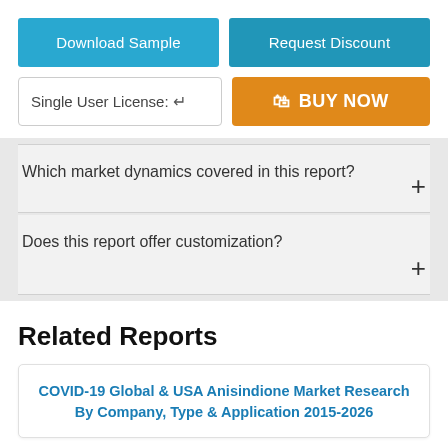Download Sample
Request Discount
Single User License: ⬦
🛍 BUY NOW
Which market dynamics covered in this report?
Does this report offer customization?
Related Reports
COVID-19 Global & USA Anisindione Market Research By Company, Type & Application 2015-2026